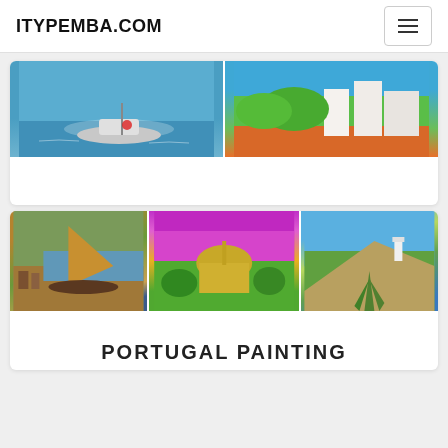ITYPEMBA.COM
[Figure (photo): Two photos side by side: left shows a boat on blue water in a harbor; right shows an aerial view of a village with green vegetation and white buildings.]
[Figure (photo): Three paintings side by side: left shows a sailboat on a river with horses and people; center shows a colorful painted palace/castle under a vivid purple-pink sky; right shows a cliff landscape with blue sea and green plants.]
PORTUGAL PAINTING